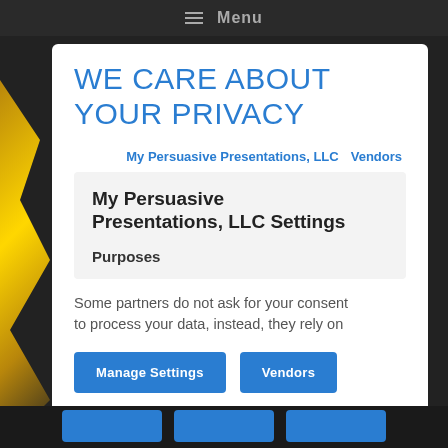≡ Menu
WE CARE ABOUT YOUR PRIVACY
My Persuasive Presentations, LLC   Vendors
My Persuasive Presentations, LLC Settings
Purposes
Some partners do not ask for your consent to process your data, instead, they rely on
Manage Settings   Vendors